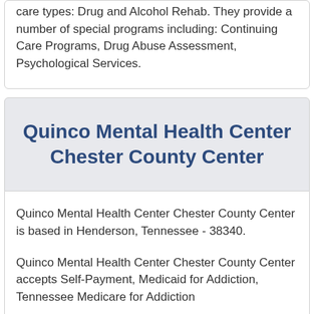care types: Drug and Alcohol Rehab. They provide a number of special programs including: Continuing Care Programs, Drug Abuse Assessment, Psychological Services.
Quinco Mental Health Center Chester County Center
Quinco Mental Health Center Chester County Center is based in Henderson, Tennessee - 38340.
Quinco Mental Health Center Chester County Center accepts Self-Payment, Medicaid for Addiction, Tennessee Medicare for Addiction...